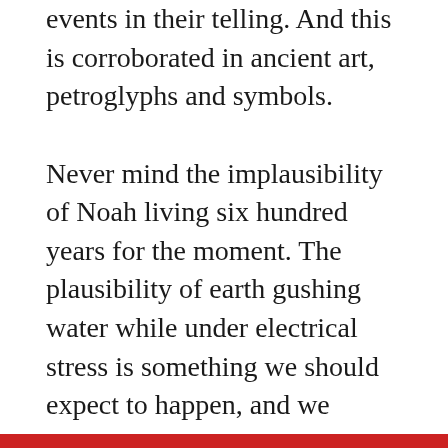events in their telling. And this is corroborated in ancient art, petroglyphs and symbols.

Never mind the implausibility of Noah living six hundred years for the moment. The plausibility of earth gushing water while under electrical stress is something we should expect to happen, and we therefore give credence to the Bible and other ancient texts and mythologies as a record of witnesses. And we keep an open mind about Noah's age, because we don't know the effect of a heightened electrical environment on life. There is ample reason to expect, from fossil record data, that life exploded after extinction catastrophes at rates Darwin's theories alone cannot explain.